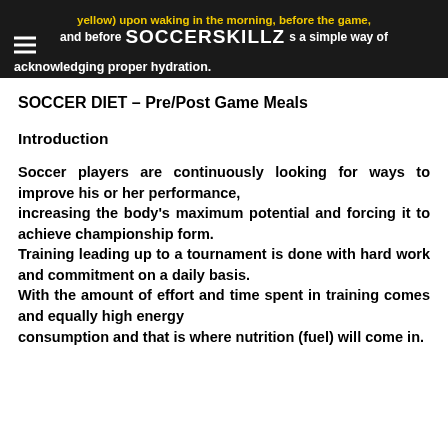yellow) upon waking in the morning, before the game, and before SOCCERSKILLZ a simple way of acknowledging proper hydration.
SOCCER DIET – Pre/Post Game Meals
Introduction
Soccer players are continuously looking for ways to improve his or her performance, increasing the body's maximum potential and forcing it to achieve championship form. Training leading up to a tournament is done with hard work and commitment on a daily basis. With the amount of effort and time spent in training comes and equally high energy consumption and that is where nutrition (fuel) will come in.